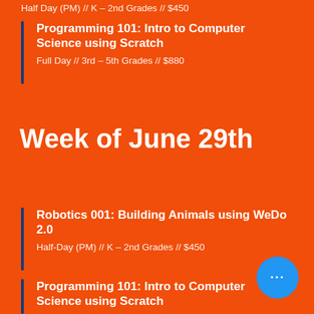Half Day (PM) // K – 2nd Grades // $450
Programming 101: Intro to Computer Science using Scratch
Full Day // 3rd – 5th Grades // $880
Week of June 29th
Robotics 001: Building Animals using WeDo 2.0
Half-Day (PM) // K – 2nd Grades // $450
Programming 101: Intro to Computer Science using Scratch